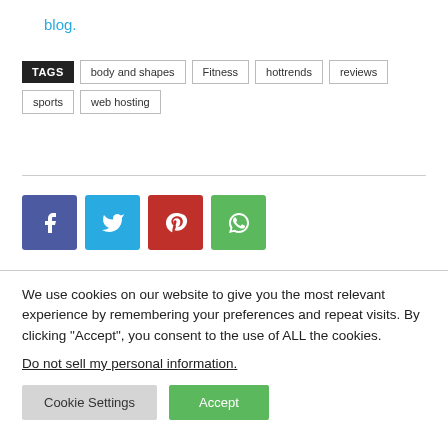blog.
TAGS  body and shapes  Fitness  hottrends  reviews  sports  web hosting
[Figure (other): Social share buttons: Facebook (blue), Twitter (light blue), Pinterest (red), WhatsApp (green)]
We use cookies on our website to give you the most relevant experience by remembering your preferences and repeat visits. By clicking "Accept", you consent to the use of ALL the cookies.
Do not sell my personal information.
Cookie Settings  Accept